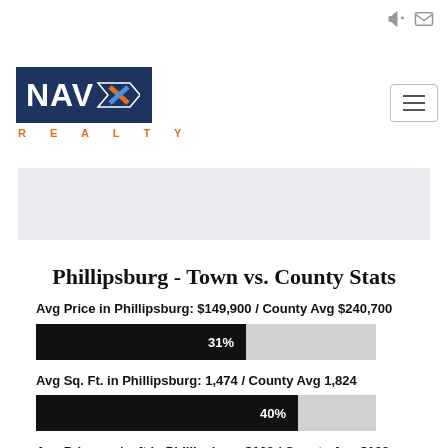[Figure (logo): NAV-X Realty logo with dark blue background and orange arrow]
[Figure (other): Banner/hero image placeholder area with light gray background]
Phillipsburg - Town vs. County Stats
Avg Price in Phillipsburg: $149,900 / County Avg $240,700
[Figure (bar-chart): Avg Price % of County]
Avg Sq. Ft. in Phillipsburg: 1,474 / County Avg 1,824
[Figure (bar-chart): Avg Sq Ft % of County]
Avg Price per/sqft in Phillipsburg:$102 / County Avg $132